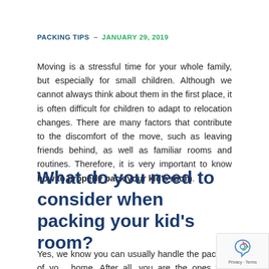PACKING TIPS – JANUARY 29, 2019
Moving is a stressful time for your whole family, but especially for small children. Although we cannot always think about them in the first place, it is often difficult for children to adapt to relocation changes. There are many factors that contribute to the discomfort of the move, such as leaving friends behind, as well as familiar rooms and routines. Therefore, it is very important to know how to properly pack your kid's room.
What do you need to consider when packing your kid's room?
Yes, we know you can usually handle the packing of your home. After all, you are the ones who know your home best, as well as what you need and don't need to pack. But